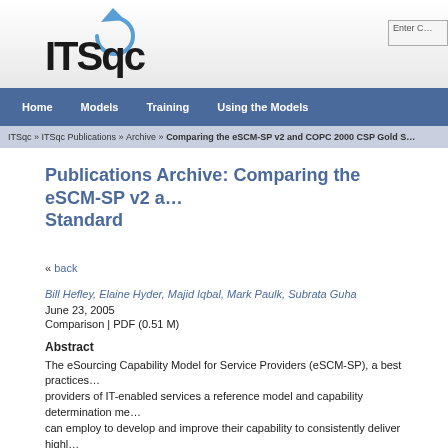[Figure (logo): ITSqc logo with circular arrow icon and bold text 'ITSqc']
Home   Models   Training   Using the Models
ITSqc » ITSqc Publications » Archive » Comparing the eSCM-SP v2 and COPC 2000 CSP Gold S...
Publications Archive: Comparing the eSCM-SP v2 and Standard
« back
Bill Hefley, Elaine Hyder, Majid Iqbal, Mark Paulk, Subrata Guha
June 23, 2005
Comparison | PDF (0.51 M)
Abstract
The eSourcing Capability Model for Service Providers (eSCM-SP), a best practices... providers of IT-enabled services a reference model and capability determination me... can employ to develop and improve their capability to consistently deliver highl...